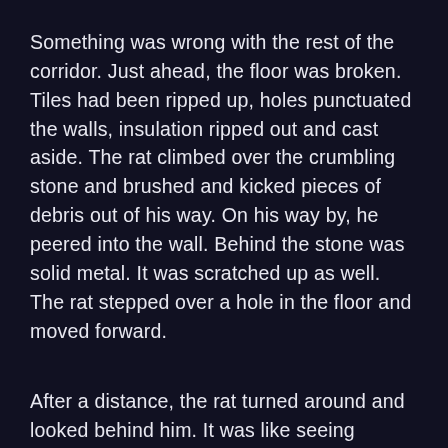Something was wrong with the rest of the corridor. Just ahead, the floor was broken. Tiles had been ripped up, holes punctuated the walls, insulation ripped out and cast aside. The rat climbed over the crumbling stone and brushed and kicked pieces of debris out of his way. On his way by, he peered into the wall. Behind the stone was solid metal. It was scratched up as well. The rat stepped over a hole in the floor and moved forward.
After a distance, the rat turned around and looked behind him. It was like seeing through time: the pristine perfection of the hallway in the past, to the crumbling ruins of the distant future in which he now stood. The cable hung in midair, wobbling up and down with the rat's slightest movement, the blue line connecting the